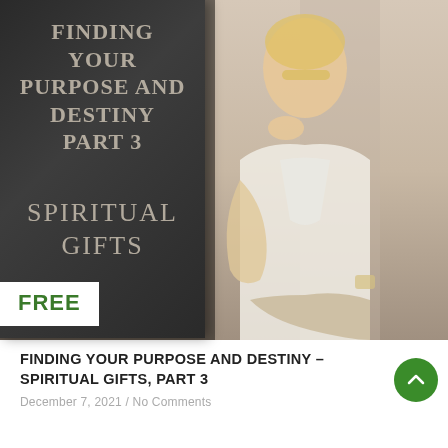[Figure (photo): A promotional blog post image showing a book cover titled 'FINDING YOUR PURPOSE AND DESTINY PART 3 – SPIRITUAL GIFTS' overlaid on a photo of a blonde woman in a white blazer sitting thoughtfully with her chin resting on her hand. A white badge with 'FREE' in green text appears in the lower-left corner of the image.]
FINDING YOUR PURPOSE AND DESTINY – SPIRITUAL GIFTS, PART 3
December 7, 2021 / No Comments